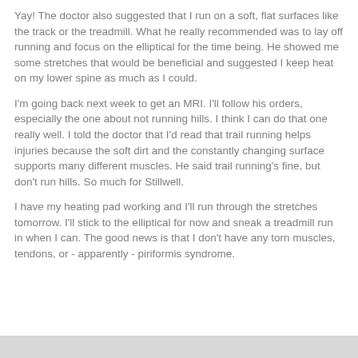Yay! The doctor also suggested that I run on a soft, flat surfaces like the track or the treadmill. What he really recommended was to lay off running and focus on the elliptical for the time being. He showed me some stretches that would be beneficial and suggested I keep heat on my lower spine as much as I could.
I'm going back next week to get an MRI. I'll follow his orders, especially the one about not running hills. I think I can do that one really well. I told the doctor that I'd read that trail running helps injuries because the soft dirt and the constantly changing surface supports many different muscles. He said trail running's fine, but don't run hills. So much for Stillwell.
I have my heating pad working and I'll run through the stretches tomorrow. I'll stick to the elliptical for now and sneak a treadmill run in when I can. The good news is that I don't have any torn muscles, tendons, or - apparently - piriformis syndrome.